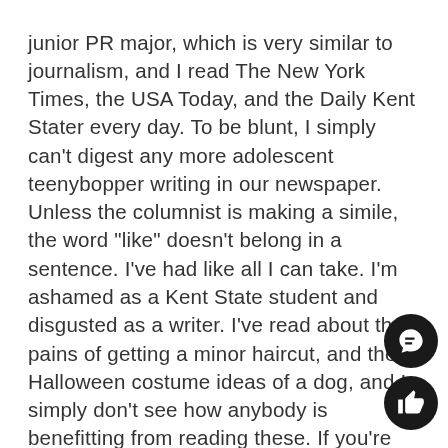junior PR major, which is very similar to journalism, and I read The New York Times, the USA Today, and the Daily Kent Stater every day. To be blunt, I simply can't digest any more adolescent teenybopper writing in our newspaper. Unless the columnist is making a simile, the word "like" doesn't belong in a sentence. I've had like all I can take. I'm ashamed as a Kent State student and disgusted as a writer. I've read about the pains of getting a minor haircut, and the Halloween costume ideas of a dog, and I simply don't see how anybody is benefitting from reading these. If you're truly starved for ideas, perhaps the paper should simply do away with the vexing, unimportant columns and only run them when something is worth running. In the mean time, you can expect this reader/writer to abstain from reading the columns. If I wanted to read a paper that didn't matter to me, I'd pick up the University of Akron Buchtelite.